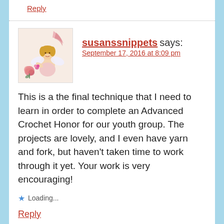Reply
susanssnippets says:
September 17, 2016 at 8:09 pm
This is a the final technique that I need to learn in order to complete an Advanced Crochet Honor for our youth group. The projects are lovely, and I even have yarn and fork, but haven’t taken time to work through it yet. Your work is very encouraging!
Loading...
Reply